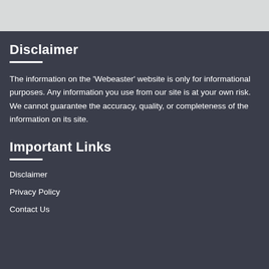Disclaimer
The information on the 'Webeaster' website is only for informational purposes. Any information you use from our site is at your own risk. We cannot guarantee the accuracy, quality, or completeness of the information on its site.
Important Links
Disclaimer
Privacy Policy
Contact Us